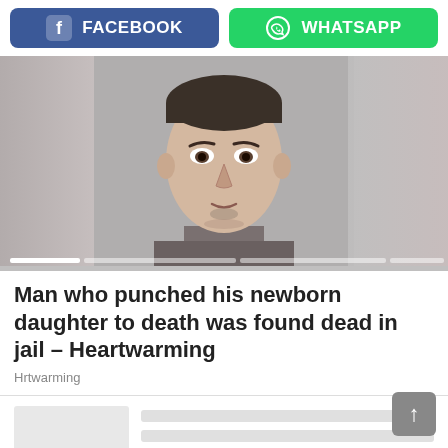[Figure (other): Facebook and WhatsApp share buttons at top of page]
[Figure (photo): Mugshot-style photo of a young man with dark hair and chin stubble, shown in a sliding image carousel with blurred side panels and progress dots at bottom]
Man who punched his newborn daughter to death was found dead in jail – Heartwarming
Hrtwarming
[Figure (other): Related article placeholder with grey thumbnail and grey text lines]
[Figure (other): Back to top arrow button in bottom right corner]